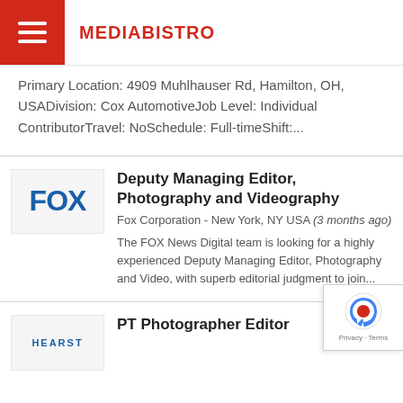MEDIABISTRO
Primary Location: 4909 Muhlhauser Rd, Hamilton, OH, USADivision: Cox AutomotiveJob Level: Individual ContributorTravel: NoSchedule: Full-timeShift:...
Deputy Managing Editor, Photography and Videography
Fox Corporation - New York, NY USA (3 months ago)
The FOX News Digital team is looking for a highly experienced Deputy Managing Editor, Photography and Video, with superb editorial judgment to join...
PT Photographer Editor